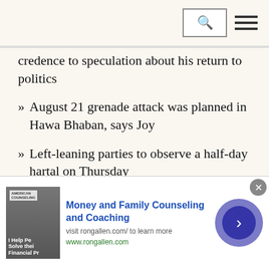credence to speculation about his return to politics
» August 21 grenade attack was planned in Hawa Bhaban, says Joy
» Left-leaning parties to observe a half-day hartal on Thursday
» Conspiracies being hatched against PM as her popularity increases: Obaidul Quader
» Mirza Fakhrul says BNP initiates fresh movement across country
[Figure (infographic): Advertisement banner for Money and Family Counseling and Coaching by Ron Allen. Shows a photo of a man, logo, title text in blue, subtitle 'visit rongallen.com/ to learn more', URL www.rongallen.com, a blue circular arrow button, and a close X button.]